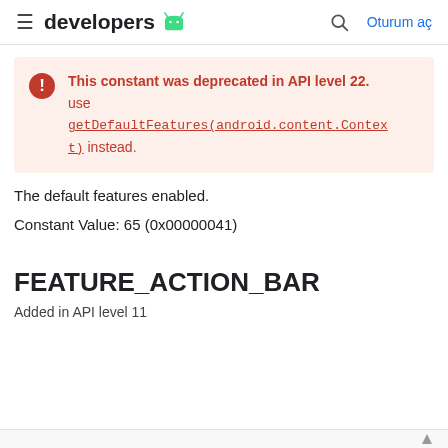≡ developers [android] Q Oturum aç
This constant was deprecated in API level 22. use getDefaultFeatures(android.content.Context) instead.
The default features enabled.
Constant Value: 65 (0x00000041)
FEATURE_ACTION_BAR
Added in API level 11